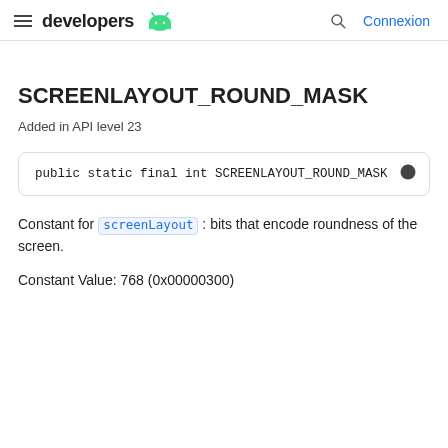developers | Connexion
SCREENLAYOUT_ROUND_MASK
Added in API level 23
public static final int SCREENLAYOUT_ROUND_MASK
Constant for screenLayout : bits that encode roundness of the screen.
Constant Value: 768 (0x00000300)